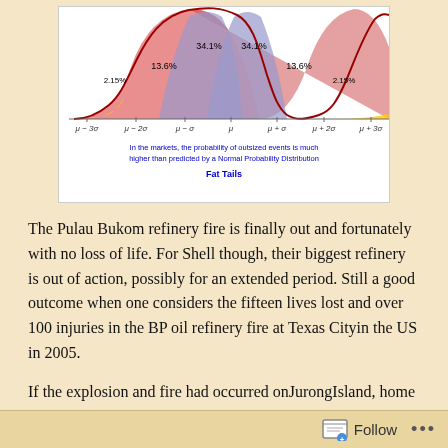[Figure (continuous-plot): Normal probability distribution bell curve showing fat tails. Regions labeled: 2.15%, 13.6%, 34.1%, 34.1%, 13.6%, 2.15%. X-axis shows μ−3σ, μ−2σ, μ−σ, μ, μ+σ, μ+2σ, μ+3σ. Text: 'In the markets, the probability of outsized events is much higher than predicted by a Normal Probability Distribution'. Label: 'Fat Tails'.]
The Pulau Bukom refinery fire is finally out and fortunately with no loss of life. For Shell though, their biggest refinery is out of action, possibly for an extended period. Still a good outcome when one considers the fifteen lives lost and over 100 injuries in the BP oil refinery fire at Texas Cityin the US in 2005.
If the explosion and fire had occurred onJurongIsland, home to nearly three times the refining capacity of Bukom as well as a host of other downstream chemical plants feeding off the refineries, the results could have been catastrophic. Much
Follow